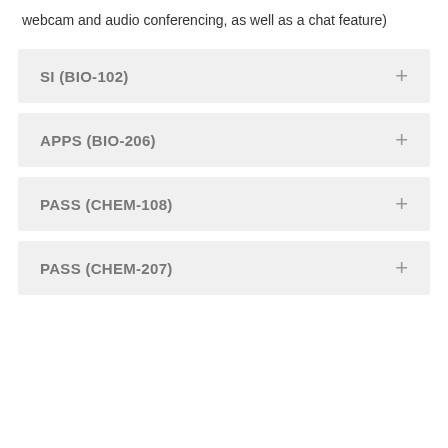webcam and audio conferencing, as well as a chat feature)
SI (BIO-102)
APPS (BIO-206)
PASS (CHEM-108)
PASS (CHEM-207)